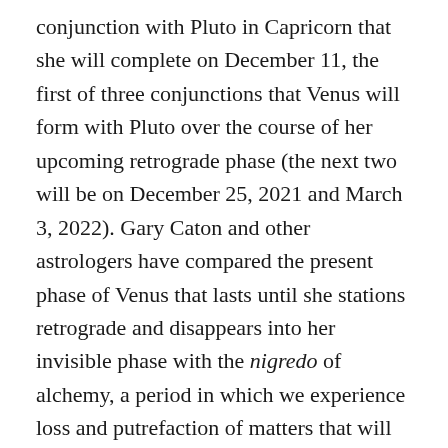conjunction with Pluto in Capricorn that she will complete on December 11, the first of three conjunctions that Venus will form with Pluto over the course of her upcoming retrograde phase (the next two will be on December 25, 2021 and March 3, 2022). Gary Caton and other astrologers have compared the present phase of Venus that lasts until she stations retrograde and disappears into her invisible phase with the nigredo of alchemy, a period in which we experience loss and putrefaction of matters that will create space for us to receive the seeds of new desires and visions to come into relationship with. The close proximity between Venus with Pluto in the month following the eclipse will amplify